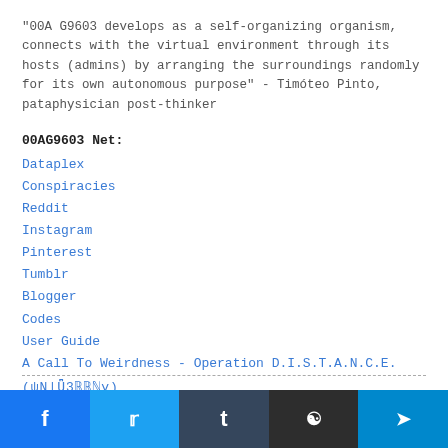"00A G9603 develops as a self-organizing organism, connects with the virtual environment through its hosts (admins) by arranging the surroundings randomly for its own autonomous purpose" - Timóteo Pinto, pataphysician post-thinker
00AG9603 Net:
Dataplex
Conspiracies
Reddit
Instagram
Pinterest
Tumblr
Blogger
Codes
User Guide
A Call To Weirdness - Operation D.I.S.T.A.N.C.E.
(ψN|ᵛ3ℝℝℕy)
Cosmic Liminality - The Space Between
Social share bar: Facebook, Twitter, Tumblr, Reddit, Telegram